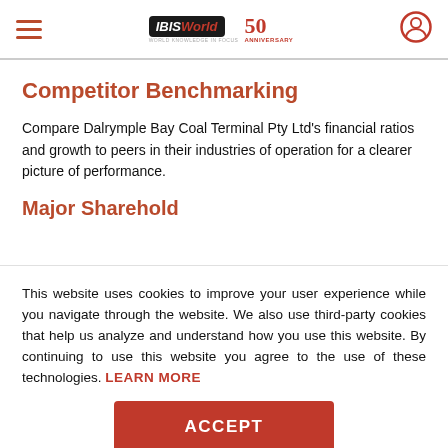IBISWorld 50th Anniversary
Competitor Benchmarking
Compare Dalrymple Bay Coal Terminal Pty Ltd's financial ratios and growth to peers in their industries of operation for a clearer picture of performance.
This website uses cookies to improve your user experience while you navigate through the website. We also use third-party cookies that help us analyze and understand how you use this website. By continuing to use this website you agree to the use of these technologies. LEARN MORE
ACCEPT